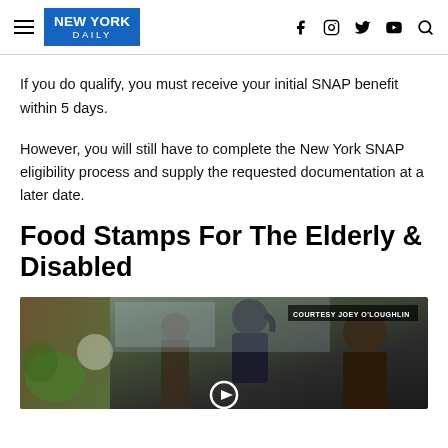NEW YORK DAILY
If you do qualify, you must receive your initial SNAP benefit within 5 days.
However, you will still have to complete the New York SNAP eligibility process and supply the requested documentation at a later date.
Food Stamps For The Elderly & Disabled
[Figure (photo): Video thumbnail showing two women in a kitchen setting, with a 'COURTESY JOEY O'LOUGHLIN' badge in the upper right and a play button at the bottom center.]